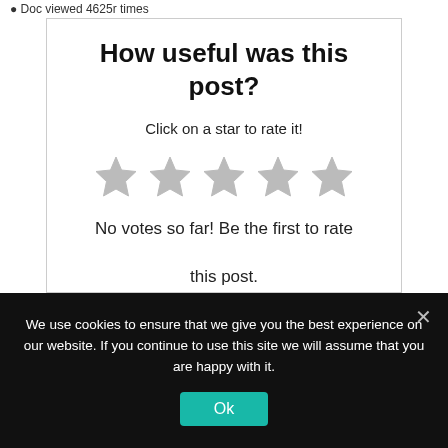Doc viewed 4625r times
How useful was this post?
Click on a star to rate it!
[Figure (illustration): Five empty/unfilled star icons in a row representing a 5-star rating widget, all displayed in light gray (unrated state).]
No votes so far! Be the first to rate this post.
We use cookies to ensure that we give you the best experience on our website. If you continue to use this site we will assume that you are happy with it.